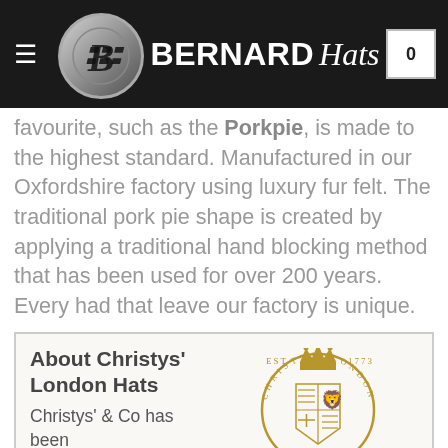Bernard Hats
favourite, such as the Porkpie, is made to the highest standard. Manufactured in our Oxfordshire factory using luxury fur felt. The traditional pork pie shape is created by applying a traditional hand blocking method that has been used for over 200 years. Every had that leave our factory is unique.
About Christys' London Hats
Christys' & Co has been
[Figure (logo): Christys' London circular crest logo with crown, shield, EST 1773, and CHRISTYS' wordmark in gold]